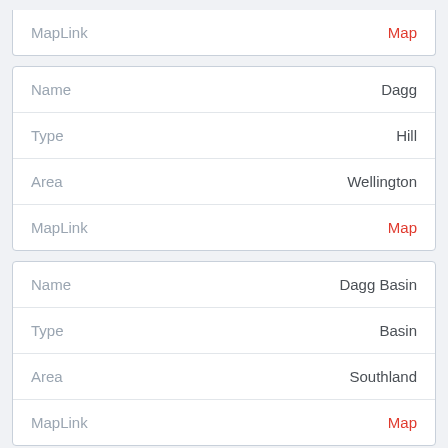| Field | Value |
| --- | --- |
| MapLink | Map |
| Field | Value |
| --- | --- |
| Name | Dagg |
| Type | Hill |
| Area | Wellington |
| MapLink | Map |
| Field | Value |
| --- | --- |
| Name | Dagg Basin |
| Type | Basin |
| Area | Southland |
| MapLink | Map |
| Field | Value |
| --- | --- |
| Name | Dagg Rid… |